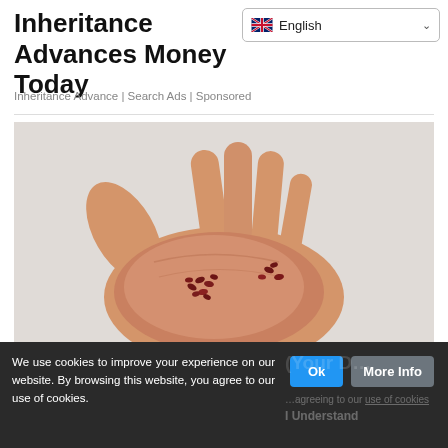Inheritance Advances Money Today
Inheritance Advance | Search Ads | Sponsored
[Figure (photo): A hand with an open palm holding small dark red seeds/berries against a light grey background.]
We use cookies to improve your experience on our website. By browsing this website, you agree to our use of cookies.